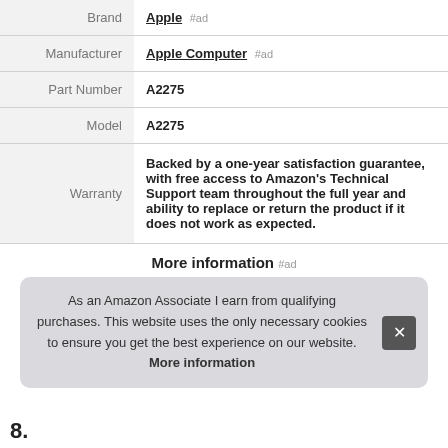| Label | Value |
| --- | --- |
| Brand | Apple #ad |
| Manufacturer | Apple Computer #ad |
| Part Number | A2275 |
| Model | A2275 |
| Warranty | Backed by a one-year satisfaction guarantee, with free access to Amazon's Technical Support team throughout the full year and ability to replace or return the product if it does not work as expected. |
More information #ad
As an Amazon Associate I earn from qualifying purchases. This website uses the only necessary cookies to ensure you get the best experience on our website. More information
8.